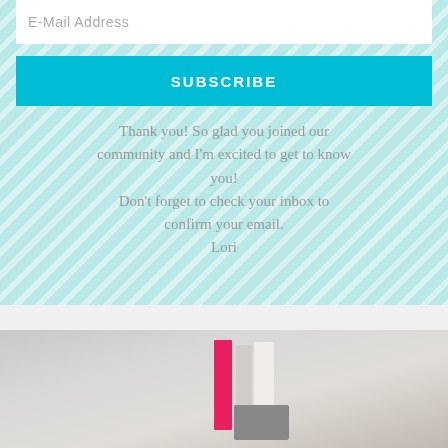E-Mail Address
SUBSCRIBE
Thank you! So glad you joined our community and I'm excited to get to know you!
Don't forget to check your inbox to confirm your email.
Lori
[Figure (photo): Blurred photo of a desk or shelf area with colorful books/items including pink and white spines, and a gray rectangular object in the foreground]